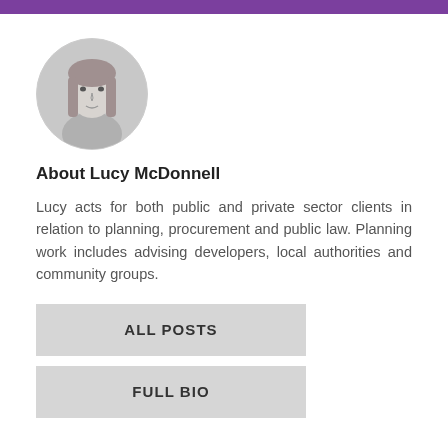[Figure (photo): Circular black and white headshot photo of Lucy McDonnell, a woman with long straight hair]
About Lucy McDonnell
Lucy acts for both public and private sector clients in relation to planning, procurement and public law. Planning work includes advising developers, local authorities and community groups.
ALL POSTS
FULL BIO